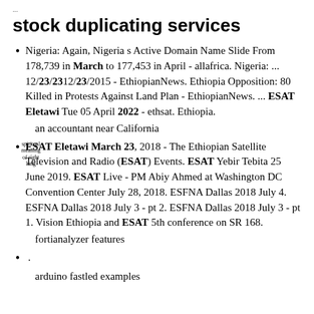...
stock duplicating services
Nigeria: Again, Nigeria s Active Domain Name Slide From 178,739 in March to 177,453 in April - allafrica. Nigeria: ... 12/23/2015 - EthiopianNews. Ethiopia Opposition: 80 Killed in Protests Against Land Plan - EthiopianNews. ... ESAT Eletawi Tue 05 April 2022 - ethsat. Ethiopia.
an accountant near California
ESAT Eletawi March 23, 2018 - The Ethiopian Satellite Television and Radio (ESAT) Events. ESAT Yebir Tebita 25 June 2019. ESAT Live - PM Abiy Ahmed at Washington DC Convention Center July 28, 2018. ESFNA Dallas 2018 July 4. ESFNA Dallas 2018 July 3 - pt 2. ESFNA Dallas 2018 July 3 - pt 1. Vision Ethiopia and ESAT 5th conference on SR 168.
fortianalyzer features
.
arduino fastled examples